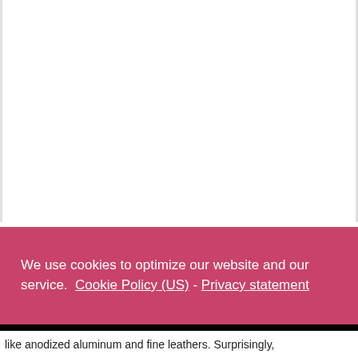We use cookies to optimize our website and our service.  Cookie Policy (US)  -  Privacy statement
Accept
like anodized aluminum and fine leathers. Surprisingly,